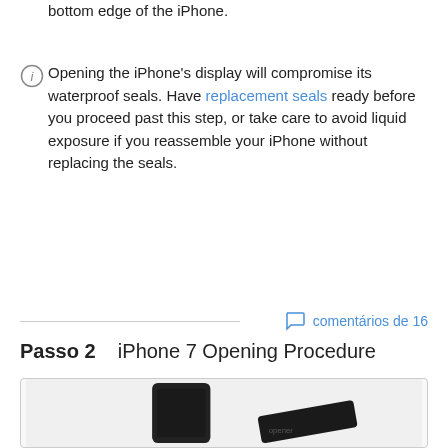bottom edge of the iPhone.
Opening the iPhone's display will compromise its waterproof seals. Have replacement seals ready before you proceed past this step, or take care to avoid liquid exposure if you reassemble your iPhone without replacing the seals.
comentários de 16
Passo 2    iPhone 7 Opening Procedure
[Figure (photo): Photo showing iPhone 7 and an opening tool on a light gray background]